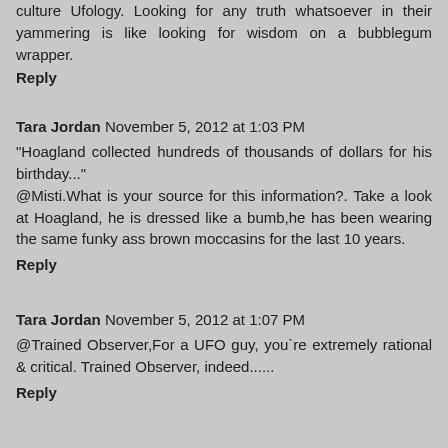culture Ufology. Looking for any truth whatsoever in their yammering is like looking for wisdom on a bubblegum wrapper.
Reply
Tara Jordan  November 5, 2012 at 1:03 PM
"Hoagland collected hundreds of thousands of dollars for his birthday..." @Misti.What is your source for this information?. Take a look at Hoagland, he is dressed like a bumb,he has been wearing the same funky ass brown moccasins for the last 10 years.
Reply
Tara Jordan  November 5, 2012 at 1:07 PM
@Trained Observer,For a UFO guy, you`re extremely rational & critical. Trained Observer, indeed......
Reply